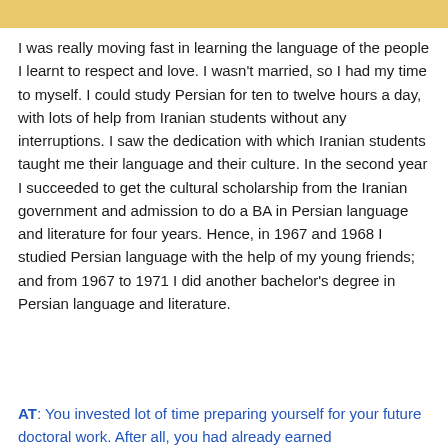I was really moving fast in learning the language of the people I learnt to respect and love.  I wasn't married, so I had my time to myself.  I could study Persian for ten to twelve hours a day, with lots of help from Iranian students without any interruptions.  I saw the dedication with which Iranian students taught me their language and their culture.  In the second year I succeeded to get the cultural scholarship from the Iranian government and admission to do a BA in Persian language and literature for four years. Hence, in 1967 and 1968 I studied Persian language with the help of my young friends; and from 1967 to 1971 I did another bachelor's degree in Persian language and literature.
AT: You invested lot of time preparing yourself for your future doctoral work.  After all, you had already earned